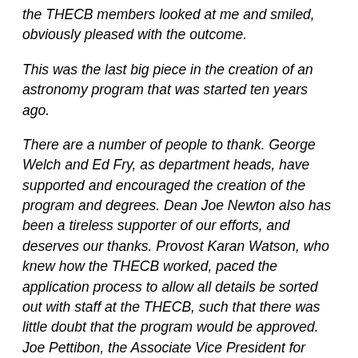the THECB members looked at me and smiled, obviously pleased with the outcome.
This was the last big piece in the creation of an astronomy program that was started ten years ago.
There are a number of people to thank. George Welch and Ed Fry, as department heads, have supported and encouraged the creation of the program and degrees. Dean Joe Newton also has been a tireless supporter of our efforts, and deserves our thanks. Provost Karan Watson, who knew how the THECB worked, paced the application process to allow all details be sorted out with staff at the THECB, such that there was little doubt that the program would be approved. Joe Pettibon, the Associate Vice President for Academic Affairs in the Provost's office, was our point person in the final